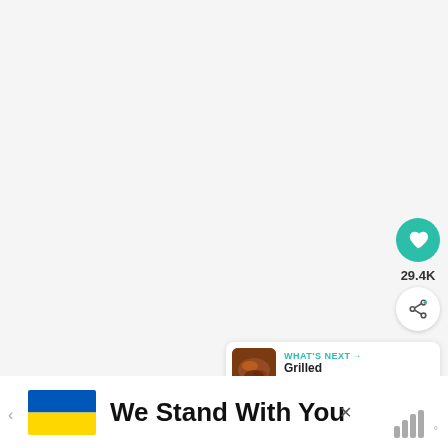[Figure (screenshot): Large light gray content area (video or image placeholder)]
[Figure (infographic): Heart/like button (teal circle with heart icon), count 29.4K, share button (white circle with share icon)]
29.4K
[Figure (infographic): What's Next card with food thumbnail, label 'WHAT'S NEXT →' and title 'Grilled Boneless...']
WHAT'S NEXT → Grilled Boneless...
[Figure (infographic): Ukraine flag banner with text 'We Stand With You' and close X button]